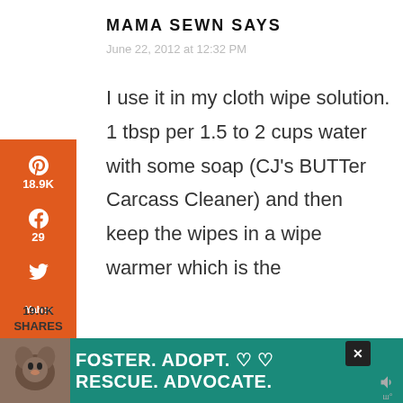MAMA SEWN SAYS
June 22, 2012 at 12:32 PM
I use it in my cloth wipe solution. 1 tbsp per 1.5 to 2 cups water with some soap (CJ's BUTTer Carcass Cleaner) and then keep the wipes in a wipe warmer which is the
[Figure (infographic): Social sharing sidebar with Pinterest (18.9K), Facebook (29), Twitter, Yahoo, Email, and Print icons on an orange background]
[Figure (infographic): Floating share button (circular, white with share icon)]
19.0K SHARES
[Figure (infographic): Advertisement banner: Foster. Adopt. Rescue. Advocate. with dog photo on teal background]